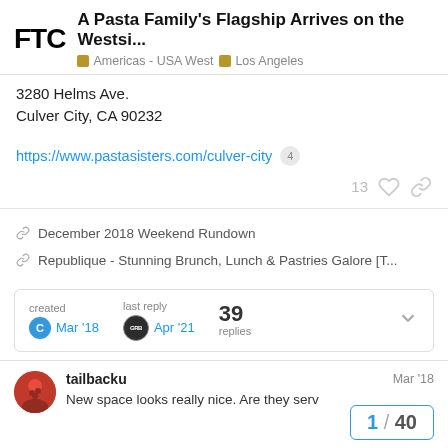FTC - A Pasta Family's Flagship Arrives on the Westsi... | Americas - USA West | Los Angeles
3280 Helms Ave.
Culver City, CA 90232
https://www.pastasisters.com/culver-city 4
13 ♡ 🔗
December 2018 Weekend Rundown
Republique - Stunning Brunch, Lunch & Pastries Galore [T...
created Mar '18  last reply Apr '21  39 replies
tailbacku  Mar '18
New space looks really nice. Are they serv
1 / 40